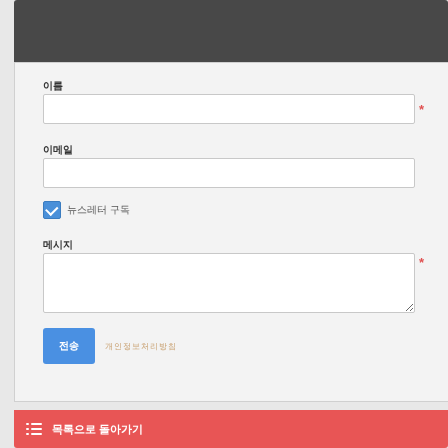[Figure (screenshot): Dark grey header bar at top of form card]
이름
[Figure (screenshot): Text input field (empty) with red asterisk required indicator]
이메일
[Figure (screenshot): Text input field (empty)]
☑ 뉴스레터 구독
메시지
[Figure (screenshot): Textarea (empty) with red asterisk required indicator]
전송
개인정보처리방침
[Figure (screenshot): Red bottom bar with list icon and text]